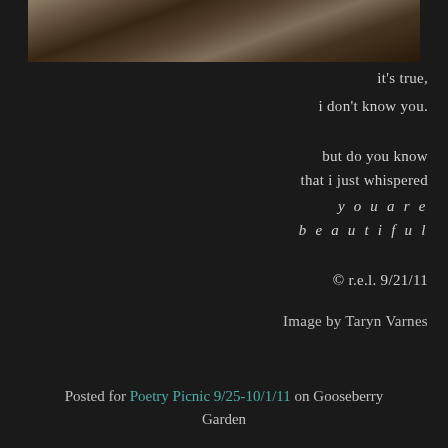[Figure (photo): Close-up photograph of rocky, mossy surface with earthen tones — browns, grays, and dark blues]
it's true,
i don't know you.

but do you know
that i just whispered
y o u  a r e
b e a u t i f u l

© r.e.l. 9/21/11
Image by Taryn Varnes
Posted for Poetry Picnic 9/25-10/1/11 on Gooseberry Garden